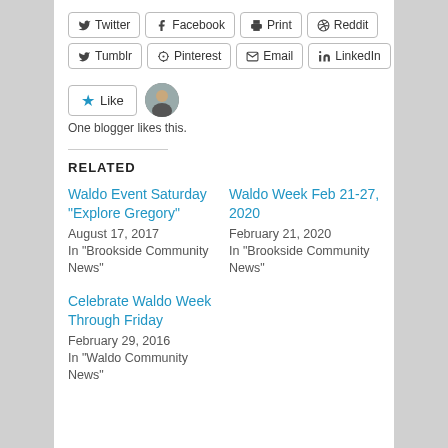Twitter
Facebook
Print
Reddit
Tumblr
Pinterest
Email
LinkedIn
Like
One blogger likes this.
RELATED
Waldo Event Saturday “Explore Gregory”
August 17, 2017
In "Brookside Community News"
Waldo Week Feb 21-27, 2020
February 21, 2020
In "Brookside Community News"
Celebrate Waldo Week Through Friday
February 29, 2016
In "Waldo Community News"